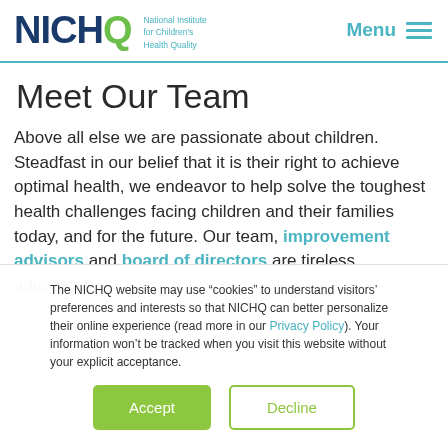NICHQ National Institute for Children's Health Quality | Menu
Meet Our Team
Above all else we are passionate about children. Steadfast in our belief that it is their right to achieve optimal health, we endeavor to help solve the toughest health challenges facing children and their families today, and for the future. Our team, improvement advisors and board of directors are tireless advocates.
The NICHQ website may use “cookies” to understand visitors’ preferences and interests so that NICHQ can better personalize their online experience (read more in our Privacy Policy). Your information won’t be tracked when you visit this website without your explicit acceptance.